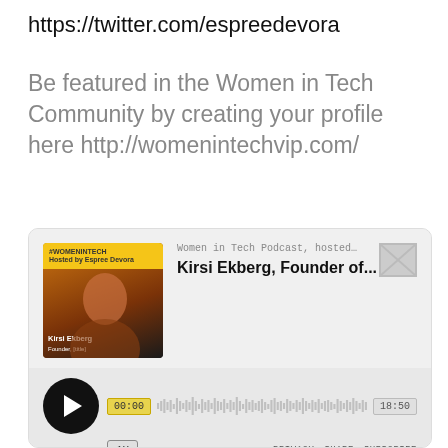https://twitter.com/espreedevora
Be featured in the Women in Tech Community by creating your profile here http://womenintechvip.com/
[Figure (screenshot): A podcast player card for 'Women in Tech Podcast, hosted... Kirsi Ekberg, Founder of...' showing a play button, waveform with timestamps 00:00 and 18:50, speed control 1X, PRIVACY SHARE SUBSCRIBE links, a coffee button, a microphone button, and Listen on Apple Podcasts and Spotify badges at the bottom.]